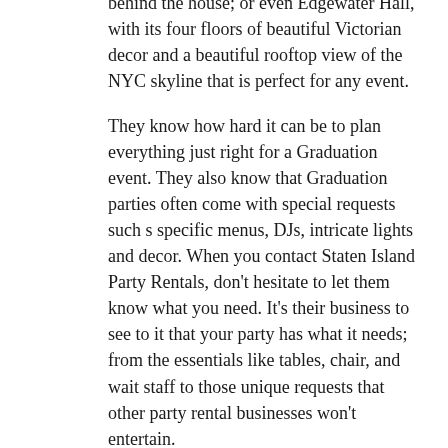of the forest; the Alice Austin House, right on the water with a large outdoor space behind the house; or even Edgewater Hall, with its four floors of beautiful Victorian decor and a beautiful rooftop view of the NYC skyline that is perfect for any event.
They know how hard it can be to plan everything just right for a Graduation event. They also know that Graduation parties often come with special requests such s specific menus, DJs, intricate lights and decor. When you contact Staten Island Party Rentals, don't hesitate to let them know what you need. It's their business to see to it that your party has what it needs; from the essentials like tables, chair, and wait staff to those unique requests that other party rental businesses won't entertain.
Staten Island Party Rentals proudly offers all of the tables, chairs, tents, canopies, and more to make Graduation Day one your guests will never forget.